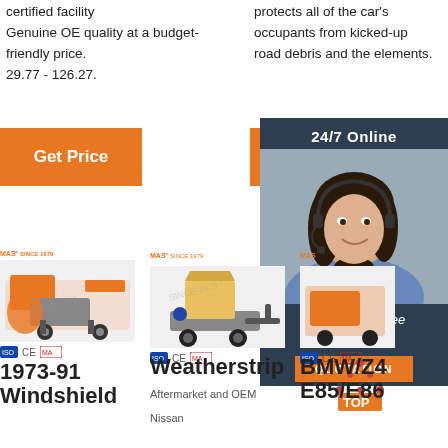certified facility
Genuine OE quality at a budget-friendly price.
29.77 - 126.27.
protects all of the car's occupants from kicked-up road debris and the elements.
Get Price
G
[Figure (photo): 24/7 Online customer service chat panel with a woman wearing a headset, dark navy background, with 'Click here for free chat!' text and an orange QUOTATION button]
[Figure (photo): Industrial orange machinery product image with MAS SINCE 1979 logo and CE/MA/ISO certification badges]
[Figure (photo): Industrial orange machinery product image with MAS SINCE 1979 logo and CE/MA/ISO certification badges]
[Figure (photo): Partially visible industrial machinery product with MAS SINCE 1979 logo and CE/MA/ISO certification badges, overlaid by chat panel]
1973-91 Windshield
Weatherstrip
Aftermarket and OEM
Nissan
BMW/Z4
E85/E86
Windshield